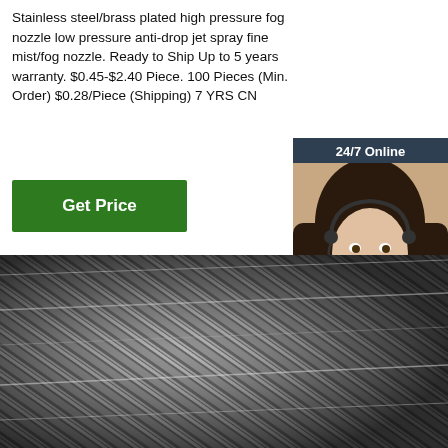Stainless steel/brass plated high pressure fog nozzle low pressure anti-drop jet spray fine mist/fog nozzle. Ready to Ship Up to 5 years warranty. $0.45-$2.40 Piece. 100 Pieces (Min. Order) $0.28/Piece (Shipping) 7 YRS CN
[Figure (other): Green 'Get Price' button]
[Figure (other): Chat widget with '24/7 Online' header, photo of a smiling woman with headset, 'Click here for free chat!' text, and orange 'QUOTATION' button]
[Figure (photo): Close-up photo of coiled stainless steel wire or rods with diagonal striped pattern in dark grey and silver tones]
[Figure (other): Orange 'TOP' badge with decorative dots at bottom right of product image]